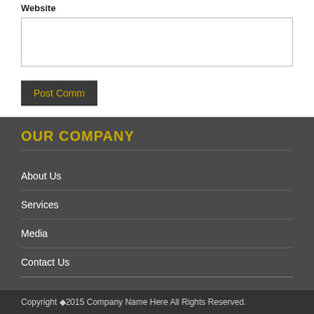Website
Post Comment
OUR COMPANY
About Us
Services
Media
Contact Us
Copyright ◆ 2015 Company Name Here All Rights Reserved.